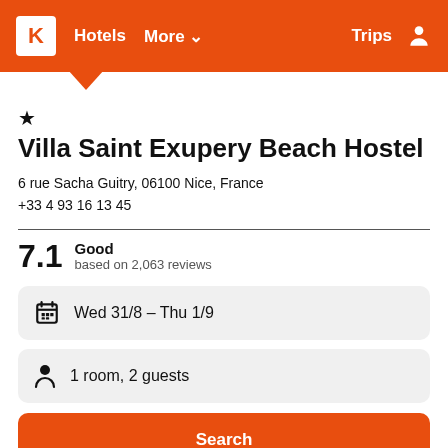K Hotels More v Trips
Villa Saint Exupery Beach Hostel
6 rue Sacha Guitry, 06100 Nice, France
+33 4 93 16 13 45
7.1 Good based on 2,063 reviews
Wed 31/8 – Thu 1/9
1 room, 2 guests
Search